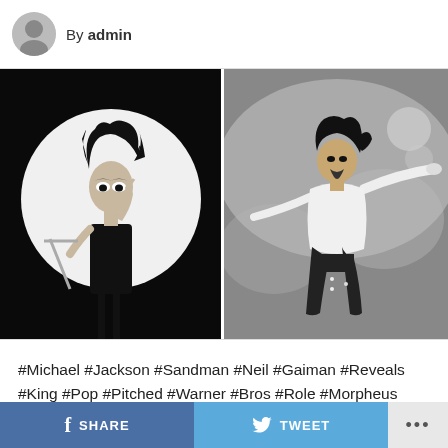By admin
[Figure (illustration): Two side-by-side black and white images: left is a comic book illustration of Sandman/Morpheus character with wild dark hair, pale face with dark eye makeup, wearing black, posed in front of a large white circle on a black background. Right is a black and white photograph of Michael Jackson performing on stage, arms outstretched, wearing a white shirt and black pants, with stage fog/lights around him.]
#Michael #Jackson #Sandman #Neil #Gaiman #Reveals #King #Pop #Pitched #Warner #Bros #Role #Morpheus
SHARE   TWEET   •••